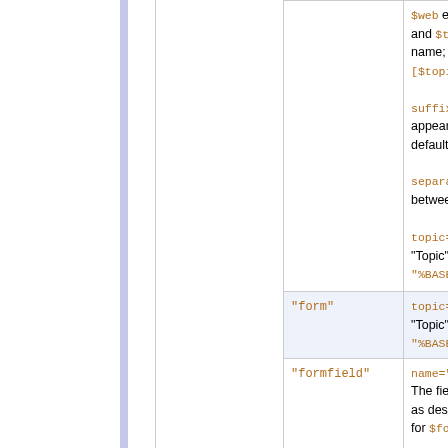| Type | Parameters | Description (truncated) |
| --- | --- | --- |
| (continuation) | $web expands to the web name, and $topic expands to the topic name; default: "[[$web.$topic][$topic]]"
suffix="...": Suffix, only appears if there are parents; default "".
separator="...": Separator between parents; default " > ".
topic="...": Get meta info of "Topic" or "Web.Topic"; default "%BASEWEB%.%BASETOPIC%". | (truncated) |
| "form" | topic="...": Get meta info of "Topic" or "Web.Topic"; default "%BASEWEB%.%BASETOPIC%". | (truncated) |
| "formfield" | name="...": name of the field. The field value can be shortened as described in FormattedSearch for $formfield.
newline="...": by default, each | (truncated) |